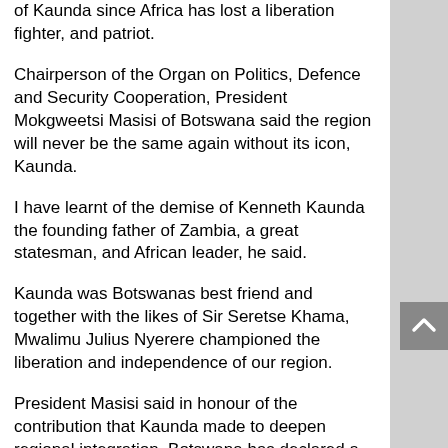of Kaunda since Africa has lost a liberation fighter, and patriot.
Chairperson of the Organ on Politics, Defence and Security Cooperation, President Mokgweetsi Masisi of Botswana said the region will never be the same again without its icon, Kaunda.
I have learnt of the demise of Kenneth Kaunda the founding father of Zambia, a great statesman, and African leader, he said.
Kaunda was Botswanas best friend and together with the likes of Sir Seretse Khama, Mwalimu Julius Nyerere championed the liberation and independence of our region.
President Masisi said in honour of the contribution that Kaunda made to deepen regional integration, Botswana has declared a seven-day mourning period.